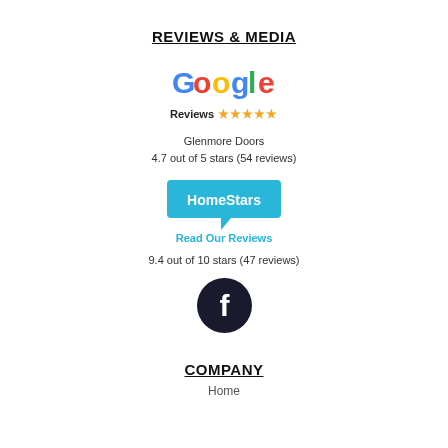REVIEWS & MEDIA
[Figure (logo): Google Reviews logo with 5 gold stars]
Glenmore Doors
4.7 out of 5 stars (54 reviews)
[Figure (logo): HomeStars logo bubble with 'Read Our Reviews' text]
9.4 out of 10 stars (47 reviews)
[Figure (logo): Facebook icon - dark circle with white f]
COMPANY
Home